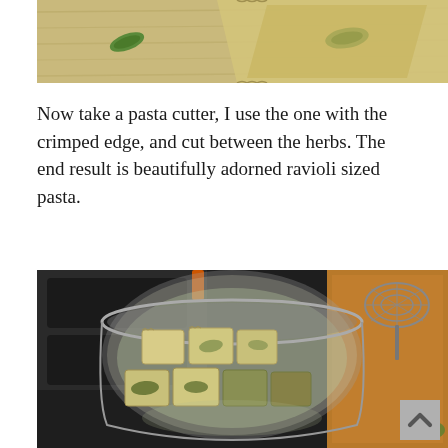[Figure (photo): Top-down photo of fresh pasta sheets on a wooden surface with herbs, showing ravioli-making in progress.]
Now take a pasta cutter, I use the one with the crimped edge, and cut between the herbs. The end result is beautifully adorned ravioli sized pasta.
[Figure (photo): Overhead photo of ravioli pasta pieces cooking in a large silver pot of water on a stove, with a wire skimmer and cutting board visible to the right.]